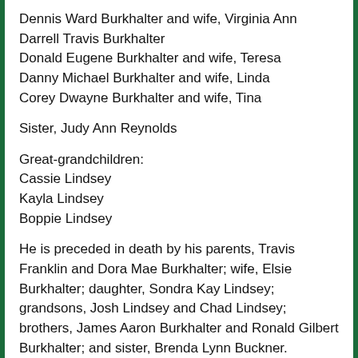Dennis Ward Burkhalter and wife, Virginia Ann
Darrell Travis Burkhalter
Donald Eugene Burkhalter and wife, Teresa
Danny Michael Burkhalter and wife, Linda
Corey Dwayne Burkhalter and wife, Tina
Sister, Judy Ann Reynolds
Great-grandchildren:
Cassie Lindsey
Kayla Lindsey
Boppie Lindsey
He is preceded in death by his parents, Travis Franklin and Dora Mae Burkhalter; wife, Elsie Burkhalter; daughter, Sondra Kay Lindsey; grandsons, Josh Lindsey and Chad Lindsey; brothers, James Aaron Burkhalter and Ronald Gilbert Burkhalter; and sister, Brenda Lynn Buckner.